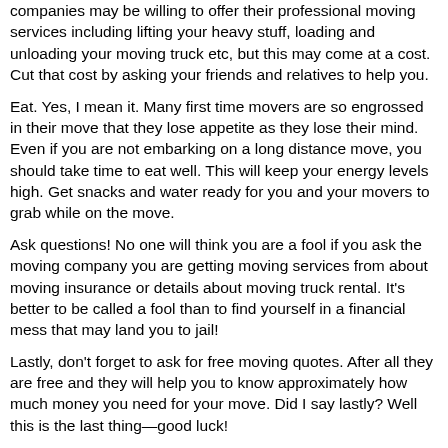companies may be willing to offer their professional moving services including lifting your heavy stuff, loading and unloading your moving truck etc, but this may come at a cost. Cut that cost by asking your friends and relatives to help you.
Eat. Yes, I mean it. Many first time movers are so engrossed in their move that they lose appetite as they lose their mind. Even if you are not embarking on a long distance move, you should take time to eat well. This will keep your energy levels high. Get snacks and water ready for you and your movers to grab while on the move.
Ask questions! No one will think you are a fool if you ask the moving company you are getting moving services from about moving insurance or details about moving truck rental. It's better to be called a fool than to find yourself in a financial mess that may land you to jail!
Lastly, don't forget to ask for free moving quotes. After all they are free and they will help you to know approximately how much money you need for your move. Did I say lastly? Well this is the last thing—good luck!